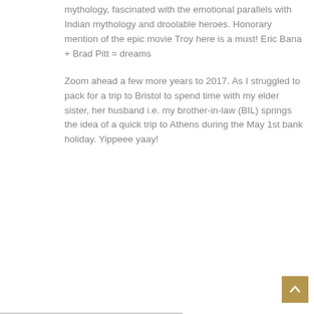mythology, fascinated with the emotional parallels with Indian mythology and droolable heroes. Honorary mention of the epic movie Troy here is a must! Eric Bana + Brad Pitt = dreams
Zoom ahead a few more years to 2017. As I struggled to pack for a trip to Bristol to spend time with my elder sister, her husband i.e. my brother-in-law (BIL) springs the idea of a quick trip to Athens during the May 1st bank holiday. Yippeee yaay!